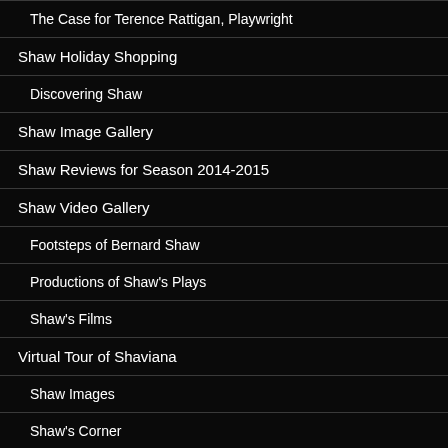The Case for Terence Rattigan, Playwright
Shaw Holiday Shopping
Discovering Shaw
Shaw Image Gallery
Shaw Reviews for Season 2014-2015
Shaw Video Gallery
Footsteps of Bernard Shaw
Productions of Shaw's Plays
Shaw's Films
Virtual Tour of Shaviana
Shaw Images
Shaw's Corner
Shaw's Remaining Writing Hut